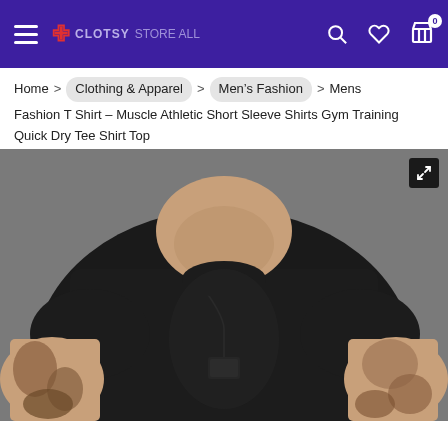Navigation bar with hamburger menu, logo, search, wishlist, and cart (0 items)
Home > Clothing & Apparel > Men's Fashion > Mens Fashion T Shirt – Muscle Athletic Short Sleeve Shirts Gym Training Quick Dry Tee Shirt Top
[Figure (photo): A muscular man with tattoos on both arms, wearing a black fitted crew-neck t-shirt and a dog tag necklace, head bowed downward. The photo is cropped to show from the neck/chin area down through the torso and arms.]